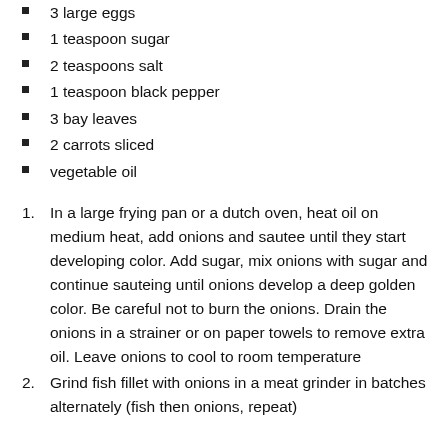3 large eggs
1 teaspoon sugar
2 teaspoons salt
1 teaspoon black pepper
3 bay leaves
2 carrots sliced
vegetable oil
1. In a large frying pan or a dutch oven, heat oil on medium heat, add onions and sautee until they start developing color. Add sugar, mix onions with sugar and continue sauteing until onions develop a deep golden color. Be careful not to burn the onions. Drain the onions in a strainer or on paper towels to remove extra oil. Leave onions to cool to room temperature
2. Grind fish fillet with onions in a meat grinder in batches alternately (fish then onions, repeat)